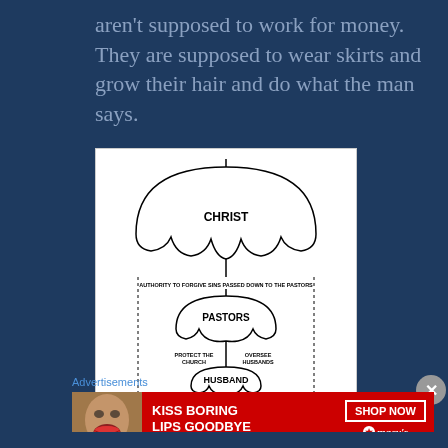aren't supposed to work for money. They are supposed to wear skirts and grow their hair and do what the man says.
[Figure (infographic): Hierarchical umbrella diagram showing spiritual authority chain: CHRIST at top with large umbrella, text 'AUTHORITY TO FORGIVE SINS PASSED DOWN TO THE PASTORS', then PASTORS umbrella with 'PROTECT THE CHURCH' and 'OVERSEE HUSBANDS', then HUSBAND umbrella with 'PROTECT FAMILY' and 'PROVIDE FOR FAMILY', then WIFE umbrella with CHILDREN at bottom. All within dashed border lines.]
Advertisements
[Figure (screenshot): Red advertisement banner for Macy's with text 'KISS BORING LIPS GOODBYE', 'SHOP NOW' button, Macy's logo with star, and a woman's face with red lipstick.]